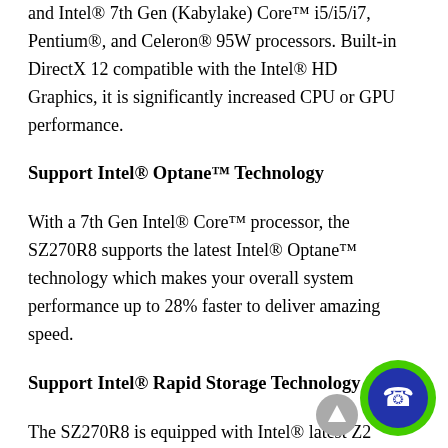and Intel® 7th Gen (Kabylake) Core™ i5/i5/i7, Pentium®, and Celeron® 95W processors. Built-in DirectX 12 compatible with the Intel® HD Graphics, it is significantly increased CPU or GPU performance.
Support Intel® Optane™ Technology
With a 7th Gen Intel® Core™ processor, the SZ270R8 supports the latest Intel® Optane™ technology which makes your overall system performance up to 28% faster to deliver amazing speed.
Support Intel® Rapid Storage Technology
The SZ270R8 is equipped with Intel® latest Z2... chipset, which supports for from 3475 MB...